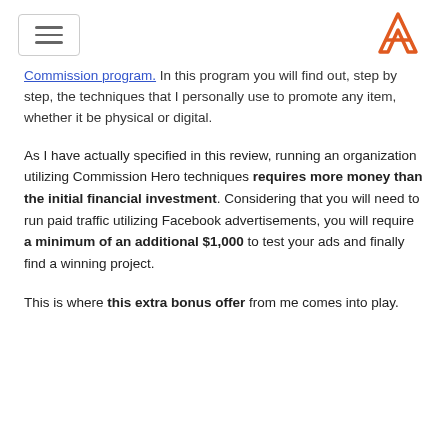[hamburger menu icon] [logo A]
Commission program. In this program you will find out, step by step, the techniques that I personally use to promote any item, whether it be physical or digital.
As I have actually specified in this review, running an organization utilizing Commission Hero techniques requires more money than the initial financial investment. Considering that you will need to run paid traffic utilizing Facebook advertisements, you will require a minimum of an additional $1,000 to test your ads and finally find a winning project.
This is where this extra bonus offer from me comes into play.